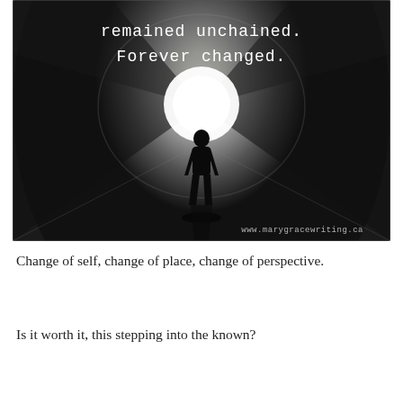[Figure (photo): Black and white photograph of a person silhouetted walking through a dark stone tunnel toward a bright circular light at the end. Overlaid white typewriter-style text reads 'remained unchained. Forever changed.' and a watermark at the bottom reads 'www.marygracewriting.ca'.]
Change of self, change of place, change of perspective.
Is it worth it, this stepping into the known?